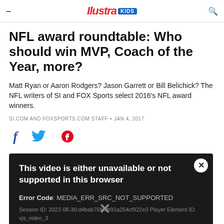Ilustra KIDS
NFL award roundtable: Who should win MVP, Coach of the Year, more?
Matt Ryan or Aaron Rodgers? Jason Garrett or Bill Belichick? The NFL writers of SI and FOX Sports select 2016's NFL award winners.
SI.COM AND FOXSPORTS.COM STAFF • JAN 4, 2017
[Figure (other): Social media share icons: Facebook (f), Twitter (bird), Pinterest (P)]
[Figure (screenshot): Video player error message on dark background. Text: 'This video is either unavailable or not supported in this browser'. Error Code: MEDIA_ERR_SRC_NOT_SUPPORTED. Session ID: 2022-08-30:d4bab76fe9b91a254cf922e3 Player Element ID: vjs_video_3]